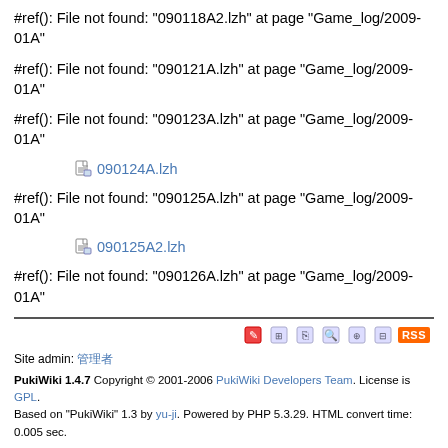#ref(): File not found: "090118A2.lzh" at page "Game_log/2009-01A"
#ref(): File not found: "090121A.lzh" at page "Game_log/2009-01A"
#ref(): File not found: "090123A.lzh" at page "Game_log/2009-01A"
090124A.lzh
#ref(): File not found: "090125A.lzh" at page "Game_log/2009-01A"
090125A2.lzh
#ref(): File not found: "090126A.lzh" at page "Game_log/2009-01A"
Site admin: 管理者 | PukiWiki 1.4.7 Copyright © 2001-2006 PukiWiki Developers Team. License is GPL. Based on "PukiWiki" 1.3 by yu-ji. Powered by PHP 5.3.29. HTML convert time: 0.005 sec.